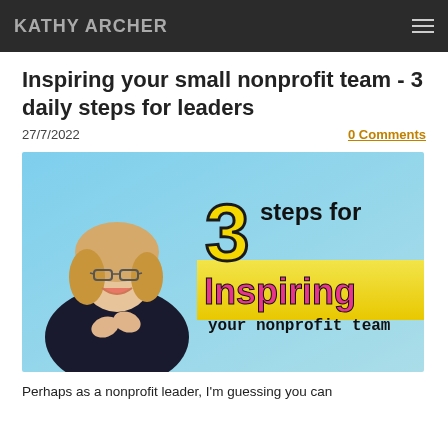KATHY ARCHER
Inspiring your small nonprofit team - 3 daily steps for leaders
27/7/2022   0 Comments
[Figure (photo): Woman smiling with hands together in prayer position, beside text reading '3 steps for Inspiring your nonprofit team' on a blue and yellow background]
Perhaps as a nonprofit leader, I'm guessing you can